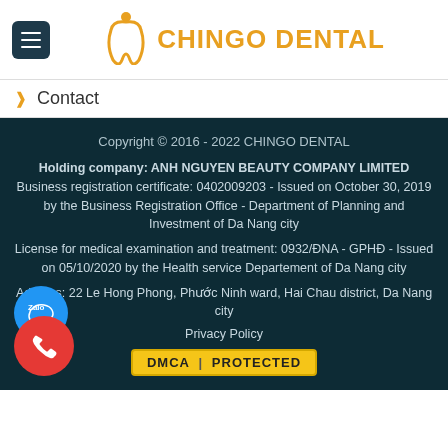[Figure (logo): Chingo Dental logo with dental icon and orange text]
Contact
Copyright © 2016 - 2022 CHINGO DENTAL
Holding company: ANH NGUYEN BEAUTY COMPANY LIMITED
Business registration certificate: 0402009203 - Issued on October 30, 2019 by the Business Registration Office - Department of Planning and Investment of Da Nang city
License for medical examination and treatment: 0932/ĐNA - GPHĐ - Issued on 05/10/2020 by the Health service Departement of Da Nang city
Address: 22 Le Hong Phong, Phước Ninh ward, Hai Chau district, Da Nang city
Privacy Policy
DMCA PROTECTED